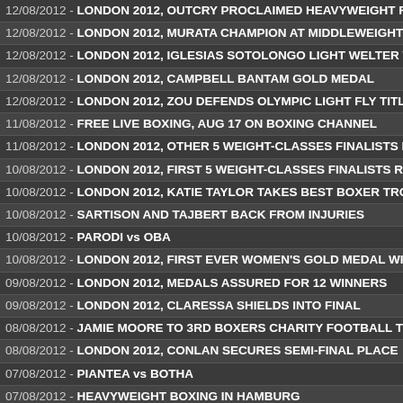12/08/2012 - LONDON 2012, OUTCRY PROCLAIMED HEAVYWEIGHT RING...
12/08/2012 - LONDON 2012, MURATA CHAMPION AT MIDDLEWEIGHT
12/08/2012 - LONDON 2012, IGLESIAS SOTOLONGO LIGHT WELTER W...
12/08/2012 - LONDON 2012, CAMPBELL BANTAM GOLD MEDAL
12/08/2012 - LONDON 2012, ZOU DEFENDS OLYMPIC LIGHT FLY TITLE...
11/08/2012 - FREE LIVE BOXING, AUG 17 ON BOXING CHANNEL
11/08/2012 - LONDON 2012, OTHER 5 WEIGHT-CLASSES FINALISTS D...
10/08/2012 - LONDON 2012, FIRST 5 WEIGHT-CLASSES FINALISTS RE...
10/08/2012 - LONDON 2012, KATIE TAYLOR TAKES BEST BOXER TRO...
10/08/2012 - SARTISON AND TAJBERT BACK FROM INJURIES
10/08/2012 - PARODI vs OBA
10/08/2012 - LONDON 2012, FIRST EVER WOMEN'S GOLD MEDAL WIN...
09/08/2012 - LONDON 2012, MEDALS ASSURED FOR 12 WINNERS
09/08/2012 - LONDON 2012, CLARESSA SHIELDS INTO FINAL
08/08/2012 - JAMIE MOORE TO 3RD BOXERS CHARITY FOOTBALL TO...
08/08/2012 - LONDON 2012, CONLAN SECURES SEMI-FINAL PLACE
07/08/2012 - PIANTEA vs BOTHA
07/08/2012 - HEAVYWEIGHT BOXING IN HAMBURG
07/08/2012 - EE-EU WELTERWEIGHT TITLE IN BELGIUM
07/08/2012 - LONDON 2012, PETRAUSKAS MOVES INTO SEMI-FINALS...
07/08/2012 - LONDON 2012, TOP 4 SUPER HEAVY INTO SEMI-FINALS
07/08/2012 - LONDON 2012, EPIC ATMOSPHERE
06/08/2012 - THIRD ANNUAL BOXERS CHARITY FOOTBALL TOURNEY...
06/08/2012 - PIANETA HEADLINES SEP 7
06/08/2012 - MAGEE vs BALZSAY UPDATE
06/08/2012 - LONDON 2012, EXPLOSIVE BANTAM & HEAVY QUARTER...
06/08/2012 - LONDON 2012, PRITCHARD SHINES